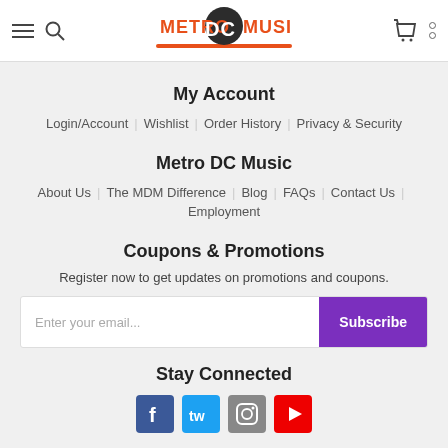Metro DC Music — navigation header with hamburger menu, search, logo, cart, and more icons
My Account
Login/Account | Wishlist | Order History | Privacy & Security
Metro DC Music
About Us | The MDM Difference | Blog | FAQs | Contact Us | Employment
Coupons & Promotions
Register now to get updates on promotions and coupons.
Enter your email... [Subscribe]
Stay Connected
[Figure (illustration): Social media icons row: Facebook (blue), Twitter (light blue), Instagram (grey), YouTube (red)]